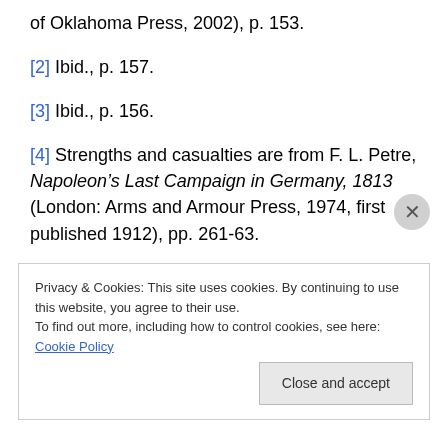of Oklahoma Press, 2002), p. 153.
[2] Ibid., p. 157.
[3] Ibid., p. 156.
[4] Strengths and casualties are from F. L. Petre, Napoleon’s Last Campaign in Germany, 1813 (London: Arms and Armour Press, 1974, first published 1912), pp. 261-63.
[5] Ibid., p. 262.
Privacy & Cookies: This site uses cookies. By continuing to use this website, you agree to their use. To find out more, including how to control cookies, see here: Cookie Policy